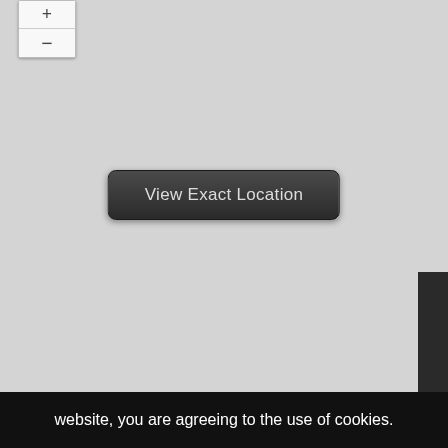[Figure (map): A gray placeholder map with zoom controls (+/-) in the top-left corner and a 'View Exact Location' button centered in the map area]
website, you are agreeing to the use of cookies.